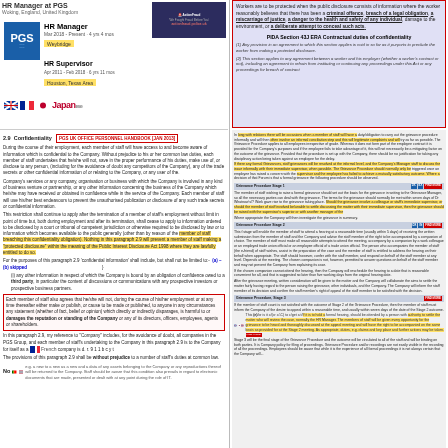HR Manager at PGS, Woking, England, United Kingdom
[Figure (logo): PGS company logo (blue with white waves) and Action Fraud logo]
HR Manager, Mar 2018 - Present · 4 yrs 4 mos, Weybridge
HR Supervisor, Apr 2011 - Feb 2018 · 6 yrs 11 mos, Houston, Texas Area
Workers are to be protected when the public disclosure consists of information where the worker reasonably believes that there has been a criminal offence, breach of a legal obligation, a miscarriage of justice, a danger to the health and safety of any individual, damage to the environment, or a deliberate attempt to conceal such acts.
PIDA Section 43J ERA Contractual duties of confidentiality
(1) Any provision in an agreement to which this section applies is void in so far as it purports to preclude the worker from making a protected disclosure.
(2) This section applies to any agreement between a worker and his employer (whether a worker's contract or not), including an agreement to refrain from instituting or continuing any proceedings under this Act or any proceedings for breach of contract
2.9 Confidentiality  PGS UK OFFICE PERSONNEL HANDBOOK [JAN 2013]
During the course of their employment, each member of staff will have access to and become aware of information which is confidential to the Company. Without prejudice to his or her common law duties, each member of staff undertakes that he/she will not, save in the proper performance of his duties, make use of, or disclose to any person, (including for the avoidance of doubt any competitors of the Company), any of the trade secrets or other confidential information of or relating to the Company, or any user of the.
Company's services or any company, organisation or business with which the Company is involved in any kind of business venture or partnership, or any other information concerning the business of the Company which he/she may have received or obtained in confidence while in the service of the Company. Each member of staff will use his/her best endeavours to prevent the unauthorised publication or disclosure of any such trade secrets or confidential information.
This restriction shall continue to apply after the termination of a member of staff's employment without limit in point of time but, both during employment and after its termination, shall cease to apply to information ordered to be disclosed by a court or tribunal of competent jurisdiction or otherwise required to be disclosed by law or to information which becomes available to the public generally (other than by reason of the member of staff breaching this confidentiality obligation). Nothing in this paragraph 2.9 will prevent a member of staff making a 'protected disclosure' within the meaning of the Public Interest Disclosure Act 1998 where they are lawfully entitled to do so.
For the purposes of this paragraph 2.9 'confidential information' shall include, but shall not be limited to:- (a) – (b) skipped
(i) any other information in respect of which the Company is bound by an obligation of confidence owed to a third party, in particular the content of discussions or communications with any prospective investors or prospective business partners.
Each member of staff also agrees that he/she will not, during the course of his/her employment or at any time thereafter either make or publish, or cause to be made or published, to anyone in any circumstances any statement (whether of fact, belief or opinion) which directly or indirectly disparages, is harmful to or damages the reputation or standing of the Company or any of its directors, officers, employees, agents or shareholders.
In this paragraph 2.9, my reference to 'Company' includes, for the avoidance of doubt, all companies in the PGS Group, and each member of staff's undertaking to the Company in this paragraph 2.9 is to the Company for itself as a member of the French community in d. r. 9 1 1 b c y t
The provisions of this paragraph 2.9 shall be without prejudice to a number of staff's duties at common law.
Classes of things e.g. a new to a new as a new and a data of any assets belonging to the Company or any reproductions thereof will be returned to the Company. Staff should be aware that this condition also prevails in regard to electronic documents that are made, presented or dealt with at any point during the role of IT.
No
[Figure (screenshot): Right column: grievance procedure document with highlighted sections, buttons labeled FIND MORE, procedure stages, and flag icons for multiple countries including UK, South Korea, Norway]